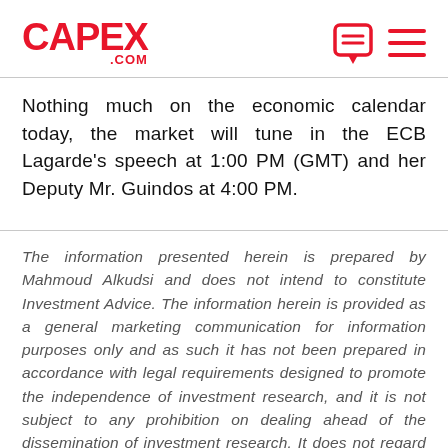CAPEX .COM
Nothing much on the economic calendar today, the market will tune in the ECB Lagarde's speech at 1:00 PM (GMT) and her Deputy Mr. Guindos at 4:00 PM.
The information presented herein is prepared by Mahmoud Alkudsi and does not intend to constitute Investment Advice. The information herein is provided as a general marketing communication for information purposes only and as such it has not been prepared in accordance with legal requirements designed to promote the independence of investment research, and it is not subject to any prohibition on dealing ahead of the dissemination of investment research. It does not regard to the specific investment objectives, financial situation or the